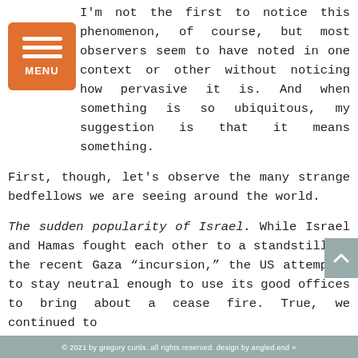I'm not the first to notice this phenomenon, of course, but most observers seem to have noted in one context or other without noticing how pervasive it is. And when something is so ubiquitous, my suggestion is that it means something.
First, though, let's observe the many strange bedfellows we are seeing around the world.
The sudden popularity of Israel. While Israel and Hamas fought each other to a standstill in the recent Gaza “incursion,” the US attempted to stay neutral enough to use its good offices to bring about a cease fire. True, we continued to
© 2021 by gregory curtis. all rights reserved. design by angled.end »